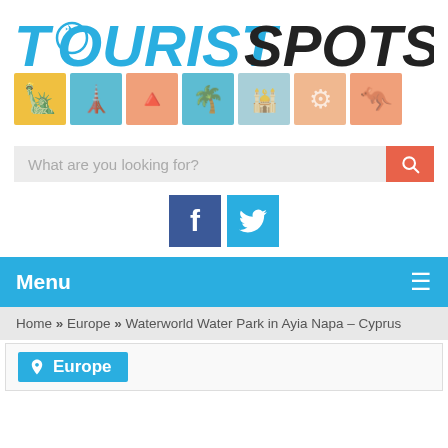[Figure (logo): Tourist Spots website logo with colorful travel stamp icons]
[Figure (screenshot): Search bar with placeholder 'What are you looking for?' and orange search button]
[Figure (screenshot): Facebook and Twitter social media icon buttons]
Menu
Home » Europe » Waterworld Water Park in Ayia Napa – Cyprus
[Figure (screenshot): Europe category tag button in blue]